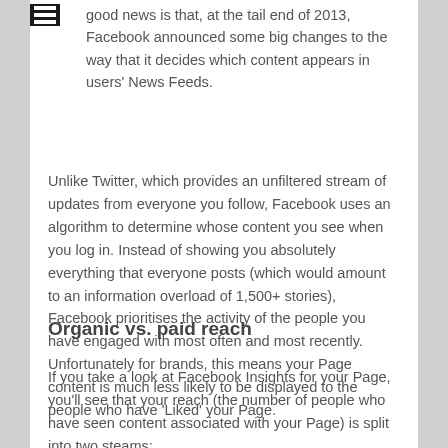good news is that, at the tail end of 2013, Facebook announced some big changes to the way that it decides which content appears in users' News Feeds.
Unlike Twitter, which provides an unfiltered stream of updates from everyone you follow, Facebook uses an algorithm to determine whose content you see when you log in. Instead of showing you absolutely everything that everyone posts (which would amount to an information overload of 1,500+ stories), Facebook prioritises the activity of the people you have engaged with most often and most recently. Unfortunately for brands, this means your Page content is much less likely to be displayed to the people who have 'Liked' your Page.
Organic vs. paid reach
If you take a look at Facebook Insights for your Page, you'll see that your reach (the number of people who have seen content associated with your Page) is split into two steams: